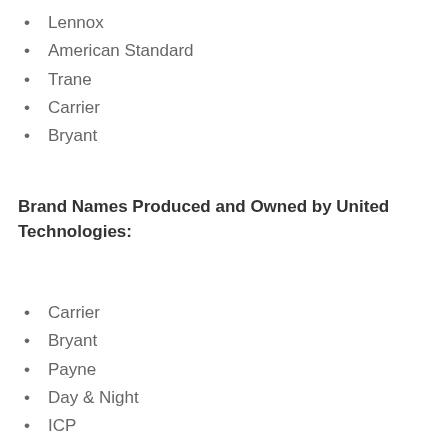Lennox
American Standard
Trane
Carrier
Bryant
Brand Names Produced and Owned by United Technologies:
Carrier
Bryant
Payne
Day & Night
ICP
Arcoaire